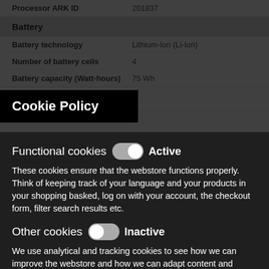| Property | Value |
| --- | --- |
| Processor ARK ID | 201837 |
| Battery |  |
| Battery technology | Lithium-Ion (Li-Ion) |
| Number of battery cells | 4 |
| Battery capacity (Watt-hours) | 75 Wh |
| Cable lock slot type | Kensington |
| Trusted Platform Module (TPM) |  |
Cookie Policy
Functional cookies
Active
These cookies ensure that the webstore functions properly. Think of keeping track of your language and your products in your shopping basked, log on with your account, the checkout form, filter search results etc.
Other cookies
Inactive
We use analytical and tracking cookies to see how we can improve the webstore and how we can adapt content and potential advertisements to your preference.
Save Settings